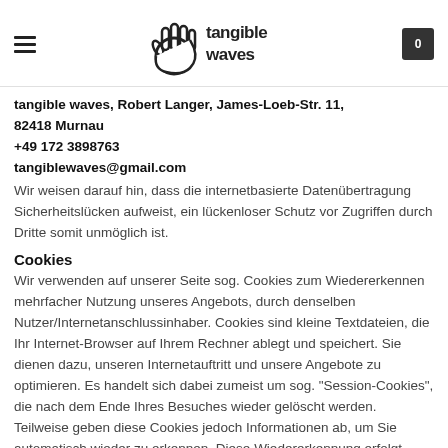tangible waves logo header with hamburger menu and cart icon showing 0
tangible waves, Robert Langer, James-Loeb-Str. 11, 82418 Murnau
+49 172 3898763
tangiblewaves@gmail.com
Wir weisen darauf hin, dass die internetbasierte Datenübertragung Sicherheitslücken aufweist, ein lückenloser Schutz vor Zugriffen durch Dritte somit unmöglich ist.
Cookies
Wir verwenden auf unserer Seite sog. Cookies zum Wiedererkennen mehrfacher Nutzung unseres Angebots, durch denselben Nutzer/Internetanschlussinhaber. Cookies sind kleine Textdateien, die Ihr Internet-Browser auf Ihrem Rechner ablegt und speichert. Sie dienen dazu, unseren Internetauftritt und unsere Angebote zu optimieren. Es handelt sich dabei zumeist um sog. "Session-Cookies", die nach dem Ende Ihres Besuches wieder gelöscht werden.
Teilweise geben diese Cookies jedoch Informationen ab, um Sie automatisch wieder zu erkennen. Diese Wiedererkennung erfolgt